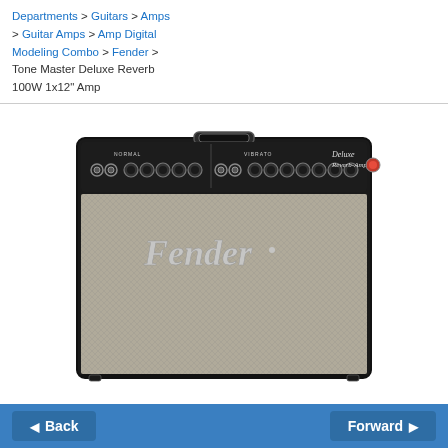Departments > Guitars > Amps > Guitar Amps > Amp Digital Modeling Combo > Fender > Tone Master Deluxe Reverb 100W 1x12" Amp
[Figure (photo): Fender Tone Master Deluxe Reverb 100W 1x12 guitar amplifier combo, black tolex exterior with silver grille cloth, Fender script logo, Deluxe Reverb-Amp control panel with knobs for Normal and Vibrato channels, carrying handle on top.]
Back | Forward